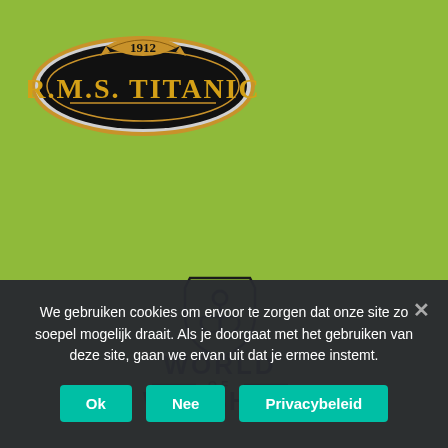[Figure (logo): RMS Titanic logo: black oval badge with gold border, 1912 banner on top, text R.M.S. TITANIC in gold letters]
[Figure (logo): World of Warships logo: black anchor shield icon above bold text WORLD OF WARSHIPS with horizontal lines around OF]
We gebruiken cookies om ervoor te zorgen dat onze site zo soepel mogelijk draait. Als je doorgaat met het gebruiken van deze site, gaan we ervan uit dat je ermee instemt.